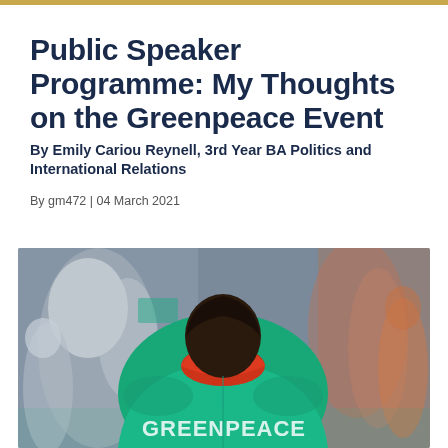Public Speaker Programme: My Thoughts on the Greenpeace Event
By Emily Cariou Reynell, 3rd Year BA Politics and International Relations
By gm472 | 04 March 2021
[Figure (photo): Person viewed from behind wearing a green Greenpeace jacket with a red hoodie underneath, standing in a crowd at what appears to be a protest or public event.]